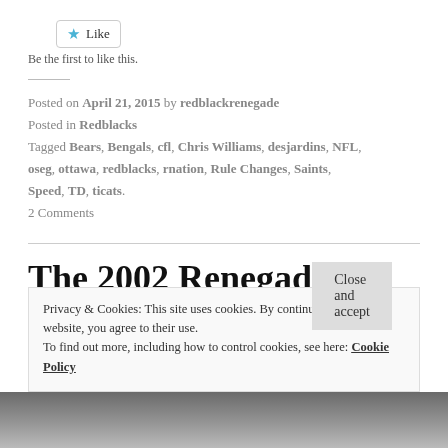Like
Be the first to like this.
Posted on April 21, 2015 by redblackrenegade
Posted in Redblacks
Tagged Bears, Bengals, cfl, Chris Williams, desjardins, NFL, oseg, ottawa, redblacks, rnation, Rule Changes, Saints, Speed, TD, ticats.
2 Comments
The 2002 Renegades vs the 2014 Redblacks (A statistical look)
Privacy & Cookies: This site uses cookies. By continuing to use this website, you agree to their use.
To find out more, including how to control cookies, see here: Cookie Policy
Close and accept
[Figure (photo): Bottom strip showing partial photo]